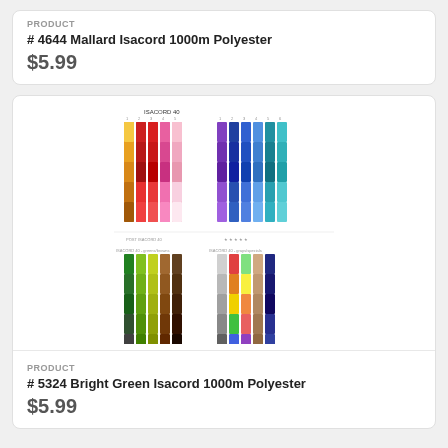PRODUCT
# 4644 Mallard Isacord 1000m Polyester
$5.99
[Figure (illustration): Isacord thread color chart showing multiple columns of colored thread swatches in reds, oranges, yellows, pinks, purples, blues, and greens arranged in a grid pattern with color codes]
PRODUCT
# 5324 Bright Green Isacord 1000m Polyester
$5.99